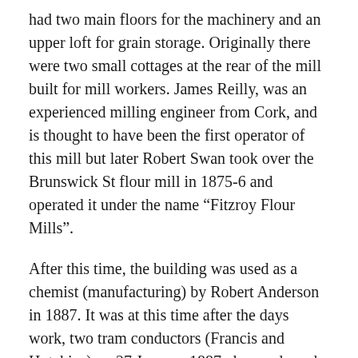had two main floors for the machinery and an upper loft for grain storage. Originally there were two small cottages at the rear of the mill built for mill workers. James Reilly, was an experienced milling engineer from Cork, and is thought to have been the first operator of this mill but later Robert Swan took over the Brunswick St flour mill in 1875-6 and operated it under the name “Fitzroy Flour Mills”.
After this time, the building was used as a chemist (manufacturing) by Robert Anderson in 1887. It was at this time after the days work, two tram conductors (Francis and Hutchins) on 27 January 1887 observed smoke issuing through the windows on the third floor. They broke open the door and with a few buckets of water extinguished the flames which had caught some shelves and a quantity of labels. The building was